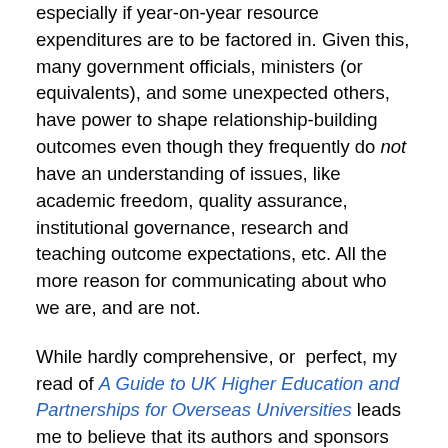especially if year-on-year resource expenditures are to be factored in. Given this, many government officials, ministers (or equivalents), and some unexpected others, have power to shape relationship-building outcomes even though they frequently do not have an understanding of issues, like academic freedom, quality assurance, institutional governance, research and teaching outcome expectations, etc. All the more reason for communicating about who we are, and are not.
While hardly comprehensive, or  perfect, my read of A Guide to UK Higher Education and Partnerships for Overseas Universities leads me to believe that its authors and sponsors are attempting to provide a primer of this type; one for ‘overseas universities’ as well as the other actors who will have an impact on the partnership relationship-building process. It is also a reflexive piece;